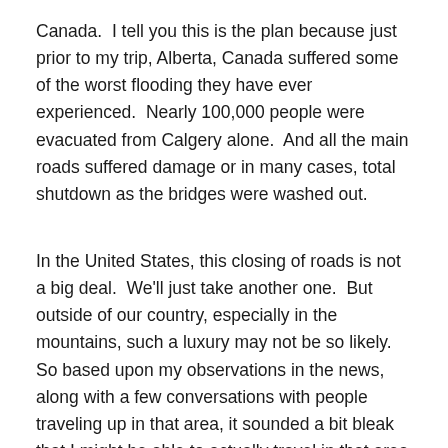Canada.  I tell you this is the plan because just prior to my trip, Alberta, Canada suffered some of the worst flooding they have ever experienced.  Nearly 100,000 people were evacuated from Calgery alone.  And all the main roads suffered damage or in many cases, total shutdown as the bridges were washed out.
In the United States, this closing of roads is not a big deal.  We'll just take another one.  But outside of our country, especially in the mountains, such a luxury may not be so likely.  So based upon my observations in the news, along with a few conversations with people traveling up in that area, it sounded a bit bleak that I might be able to actually travel in that area of the country.  And I had planned to ride the Icefields Parkway and stay in Lake Louise, Alberta.  Now it sounded as though I might not be able to get there.  We do now that the roads going into that